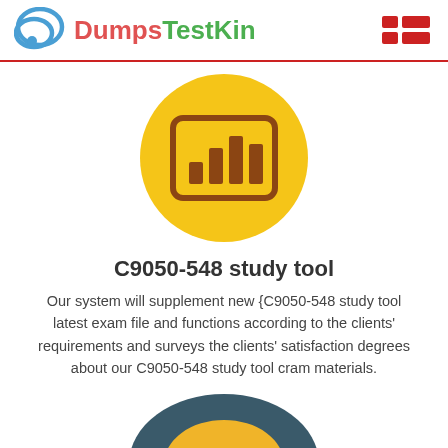DumpsTestKin
[Figure (illustration): Yellow circle with a brown bar chart icon inside a rounded rectangle frame]
C9050-548 study tool
Our system will supplement new {C9050-548 study tool latest exam file and functions according to the clients' requirements and surveys the clients' satisfaction degrees about our C9050-548 study tool cram materials.
[Figure (illustration): Partial dark teal circle with yellow inner arc, cropped at bottom of page]